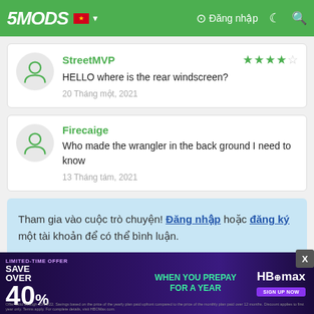5MODS | Đăng nhập
StreetMVP — HELLO where is the rear windscreen? — 20 Tháng một, 2021 — Rating: 3.5/5
Firecaige — Who made the wrangler in the back ground I need to know — 13 Tháng tám, 2021
Tham gia vào cuộc trò chuyện! Đăng nhập hoặc đăng ký một tài khoản để có thể bình luận.
[Figure (screenshot): HBO Max advertisement banner: LIMITED-TIME OFFER — SAVE OVER 40% WHEN YOU PREPAY FOR A YEAR — HBOMAX SIGN UP NOW]